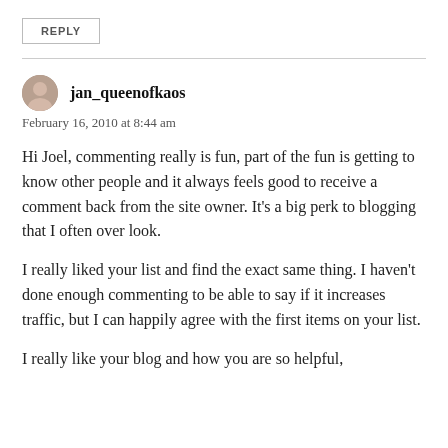REPLY
jan_queenofkaos
February 16, 2010 at 8:44 am
Hi Joel, commenting really is fun, part of the fun is getting to know other people and it always feels good to receive a comment back from the site owner. It's a big perk to blogging that I often over look.
I really liked your list and find the exact same thing. I haven't done enough commenting to be able to say if it increases traffic, but I can happily agree with the first items on your list.
I really like your blog and how you are so helpful,